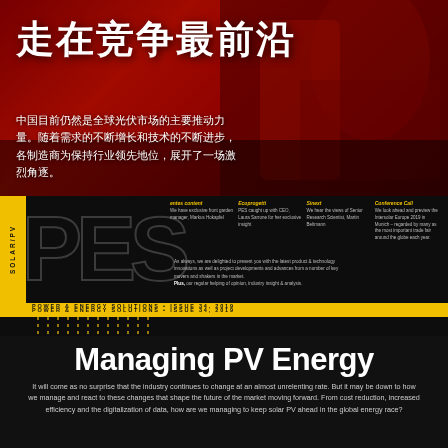[Figure (photo): Red-toned industrial/solar manufacturing background photo with dark overlay]
走在竞争最前沿
中国目前仍然是全球光伏市场的主要推动力量。随着需求的不断增长和技术的不断进步，各制造商为保持行业领先地位，展开了一场激烈角逐。
[Figure (logo): PES Solar/PV magazine cover section — black background with large PES letters, SOLAR/PV vertical label, yellow bar, and column text sections]
POWER & ENERGY SOLUTIONS • ISSUE 34, 2019
Managing PV Energy
It will come as no surprise that the industry continues to change at an almost unrelenting rate. But it may be down to how we manage and react to these changes that shape the future of the market moving forward. From cost reduction, increased efficiency and the digitalization of data, how are we managing to keep solar PV ahead in the global energy race?